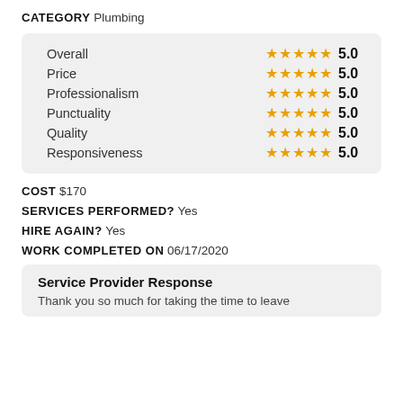CATEGORY Plumbing
| Category | Stars | Score |
| --- | --- | --- |
| Overall | ★★★★★ | 5.0 |
| Price | ★★★★★ | 5.0 |
| Professionalism | ★★★★★ | 5.0 |
| Punctuality | ★★★★★ | 5.0 |
| Quality | ★★★★★ | 5.0 |
| Responsiveness | ★★★★★ | 5.0 |
COST $170
SERVICES PERFORMED? Yes
HIRE AGAIN? Yes
WORK COMPLETED ON 06/17/2020
Service Provider Response
Thank you so much for taking the time to leave